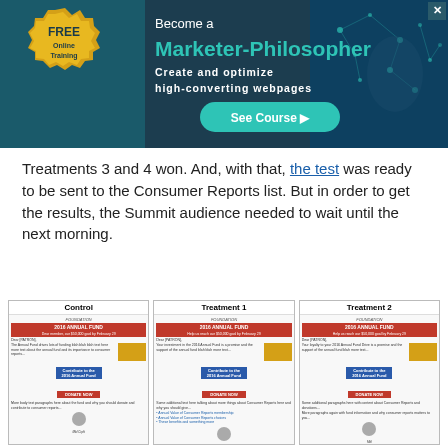[Figure (infographic): Advertisement banner: FREE Online Training - Become a Marketer-Philosopher. Create and optimize high-converting webpages. See Course button. Dark teal background with neural network imagery.]
Treatments 3 and 4 won. And, with that, the test was ready to be sent to the Consumer Reports list. But in order to get the results, the Summit audience needed to wait until the next morning.
[Figure (screenshot): Three email treatment screenshots side by side labeled Control, Treatment 1, and Treatment 2. Each shows a 2016 Annual Fund fundraising email with red header, body text, golden image, and DONATE NOW button.]